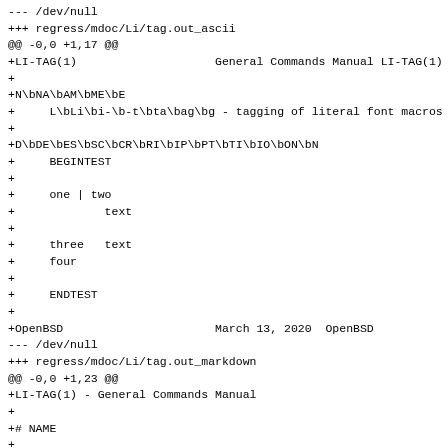--- /dev/null
+++ regress/mdoc/Li/tag.out_ascii
@@ -0,0 +1,17 @@
+LI-TAG(1)                    General Commands Manual LI-TAG(1)
+
+N\bNA\bAM\bME\bE
+     L\bLi\bi-\b-t\bta\bag\bg - tagging of literal font macros
+
+D\bDE\bES\bSC\bCR\bRI\bIP\bPT\bTI\bIO\bON\bN
+     BEGINTEST
+
+     one | two
+             text
+
+     three   text
+     four
+
+     ENDTEST
+
+OpenBSD                      March 13, 2020  OpenBSD
--- /dev/null
+++ regress/mdoc/Li/tag.out_markdown
@@ -0,0 +1,23 @@
+LI-TAG(1) - General Commands Manual
+
+# NAME
+